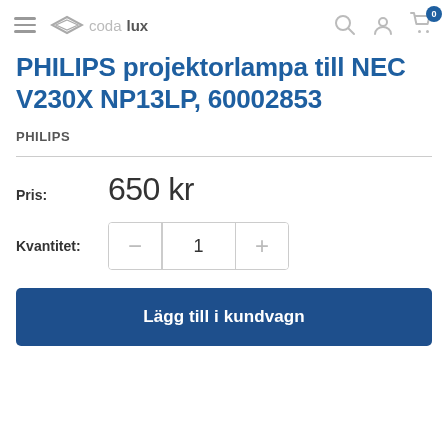codalux — navigation header with search, account, and cart icons
PHILIPS projektorlampa till NEC V230X NP13LP, 60002853
PHILIPS
Pris: 650 kr
Kvantitet: 1
Lägg till i kundvagn